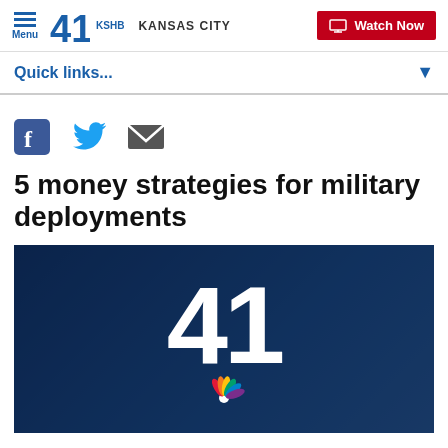Menu | 41 KSHB KANSAS CITY | Watch Now
Quick links...
[Figure (other): Social media share icons: Facebook (f), Twitter (bird), Email (envelope)]
5 money strategies for military deployments
[Figure (other): KSHB 41 news station branding image — dark blue background with large white '41' numeral and NBC peacock logo]